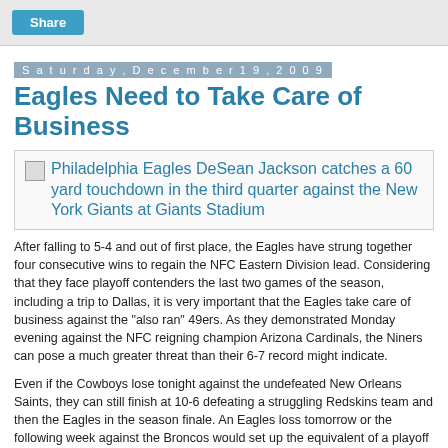Share
Saturday, December 19, 2009
Eagles Need to Take Care of Business
[Figure (photo): Philadelphia Eagles DeSean Jackson catches a 60 yard touchdown in the third quarter against the New York Giants at Giants Stadium]
After falling to 5-4 and out of first place, the Eagles have strung together four consecutive wins to regain the NFC Eastern Division lead. Considering that they face playoff contenders the last two games of the season, including a trip to Dallas, it is very important that the Eagles take care of business against the "also ran" 49ers. As they demonstrated Monday evening against the NFC reigning champion Arizona Cardinals, the Niners can pose a much greater threat than their 6-7 record might indicate.
Even if the Cowboys lose tonight against the undefeated New Orleans Saints, they can still finish at 10-6 defeating a struggling Redskins team and then the Eagles in the season finale. An Eagles loss tomorrow or the following week against the Broncos would set up the equivalent of a playoff game in Dallas as the winner will finish ahead of the other for the NFC East title or a playoff spot. A win tomorrow and next week would clinch the NFC East with a Cowboys loss tonight.
San Francisco has been particularly tough at home, but has won in Arizona and lost very close games in Minnesota, Houston, Indianapolis, Green Bay and